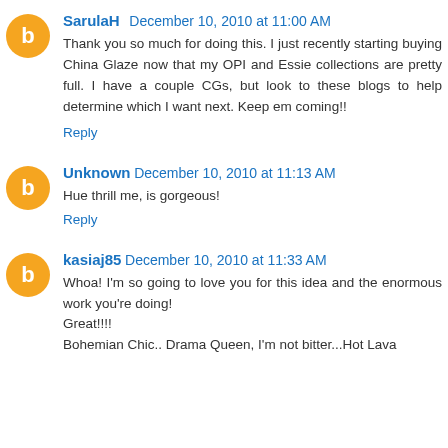SarulaH December 10, 2010 at 11:00 AM
Thank you so much for doing this. I just recently starting buying China Glaze now that my OPI and Essie collections are pretty full. I have a couple CGs, but look to these blogs to help determine which I want next. Keep em coming!!
Reply
Unknown December 10, 2010 at 11:13 AM
Hue thrill me, is gorgeous!
Reply
kasiaj85 December 10, 2010 at 11:33 AM
Whoa! I'm so going to love you for this idea and the enormous work you're doing!
Great!!!!
Bohemian Chic.. Drama Queen, I'm not bitter...Hot Lava